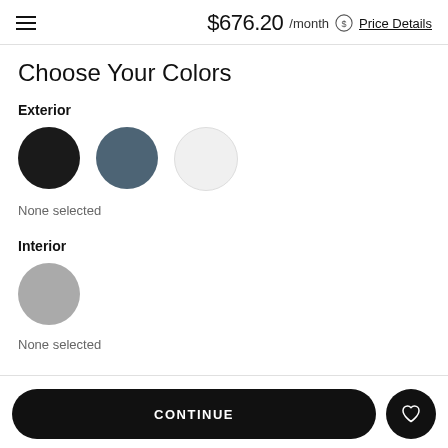$676.20 /month Price Details
Choose Your Colors
Exterior
[Figure (illustration): Three color swatches in circles: black, steel blue, and white/light gray]
None selected
Interior
[Figure (illustration): One color swatch circle in medium gray]
None selected
CONTINUE